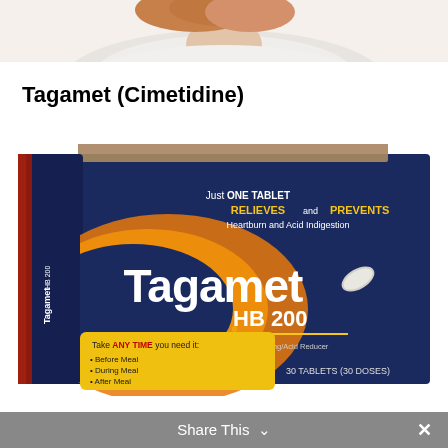[Figure (photo): Top portion of a person's head/shoulder area, cropped — showing hair and white shirt/top, from what appears to be a person experiencing heartburn]
Tagamet (Cimetidine)
[Figure (photo): Product photo of Tagamet HB 200 box — dark navy blue box with orange/gold swoosh design. Text on box: 'Just ONE TABLET RELIEVES and PREVENTS Heartburn and Acid Indigestion', 'Tagamet HB 200', 'Cimetidine Tablets 200 mg/Acid Reducer', 'Take ANY TIME you need it: Before Meal, During Meal, After Meal', '30 TABLETS (30 DOSES)']
Share This  ✕